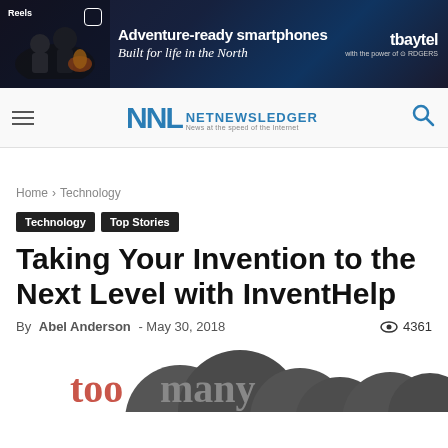[Figure (photo): Tbaytel advertisement banner: adventure-ready smartphones, Built for life in the North, with Instagram Reels graphic on left]
NNL NETNEWSLEDGER — News at the speed of the Internet
Home › Technology
Technology   Top Stories
Taking Your Invention to the Next Level with InventHelp
By Abel Anderson - May 30, 2018   👁 4361
[Figure (illustration): Partial view of a 'too many' graphic with dark grey cloud/bubble shapes and pink/red text]